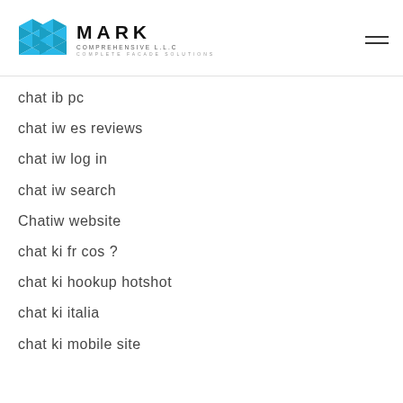[Figure (logo): Mark Comprehensive LLC logo with blue geometric diamond/cube icon, bold MARK text, COMPREHENSIVE L.L.C subtitle, COMPLETE FACADE SOLUTIONS tagline]
chat ib pc
chat iw es  reviews
chat iw log in
chat iw search
Chatiw website
chat ki fr cos ?
chat ki hookup hotshot
chat ki italia
chat ki mobile site